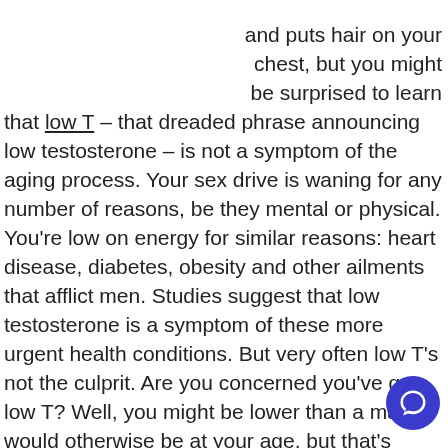and puts hair on your chest, but you might be surprised to learn that low T – that dreaded phrase announcing low testosterone – is not a symptom of the aging process. Your sex drive is waning for any number of reasons, be they mental or physical. You're low on energy for similar reasons: heart disease, diabetes, obesity and other ailments that afflict men. Studies suggest that low testosterone is a symptom of these more urgent health conditions. But very often low T's not the culprit. Are you concerned you've got low T? Well, you might be lower than a man would otherwise be at your age, but that's something you should address with your doctor. will want to screen you for these other, more serious conditions. Treat those first, and your testosterone should follow.